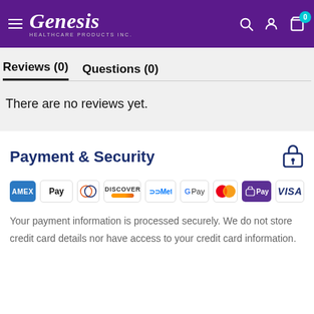Genesis Healthcare Products Inc.
Reviews (0)  Questions (0)
There are no reviews yet.
Payment & Security
[Figure (logo): Payment method logos: Amex, Apple Pay, Diners Club, Discover, Meta, Google Pay, Mastercard, Shop Pay, Visa]
Your payment information is processed securely. We do not store credit card details nor have access to your credit card information.